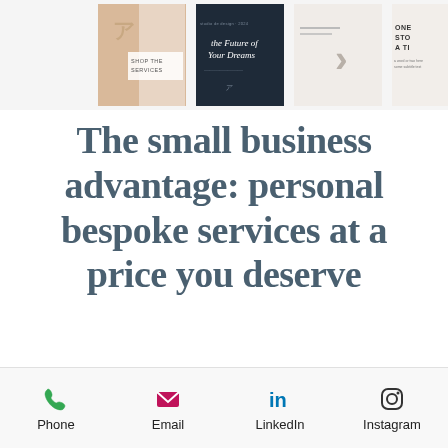[Figure (screenshot): A horizontal strip of four social media or marketing template previews: first shows a tan/beige layout with a symbol and text 'SHOP THE SERVICES', second shows a dark navy cover with text 'the Future of Your Dreams', third shows a minimal light gray layout with a chevron arrow and text 'ONE STO... A TI...', fourth is partially cropped.]
The small business advantage: personal bespoke services at a price you deserve
Phone  Email  LinkedIn  Instagram